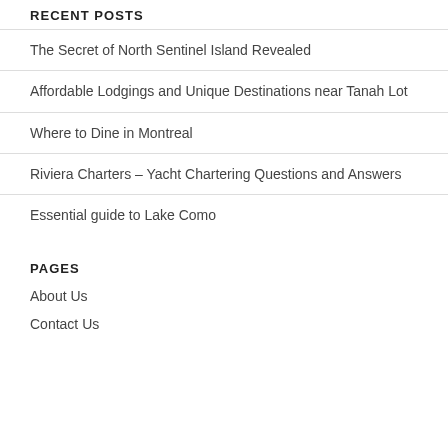RECENT POSTS
The Secret of North Sentinel Island Revealed
Affordable Lodgings and Unique Destinations near Tanah Lot
Where to Dine in Montreal
Riviera Charters – Yacht Chartering Questions and Answers
Essential guide to Lake Como
PAGES
About Us
Contact Us